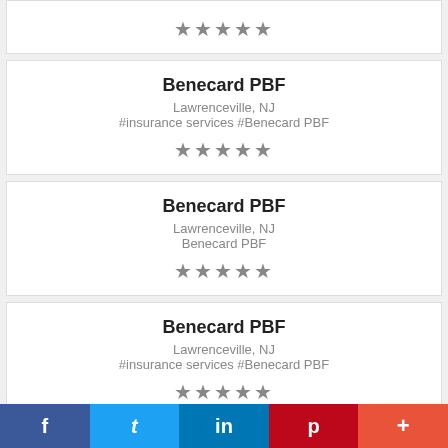[Figure (other): Partial card at top showing 5 stars rating]
Benecard PBF
Lawrenceville, NJ
#insurance services #Benecard PBF
[Figure (other): 5 stars rating]
Benecard PBF
Lawrenceville, NJ
Benecard PBF
[Figure (other): 5 stars rating]
Benecard PBF
Lawrenceville, NJ
#insurance services #Benecard PBF
[Figure (other): Partial 5 stars rating (cut off at bottom)]
f  t  in  p  +